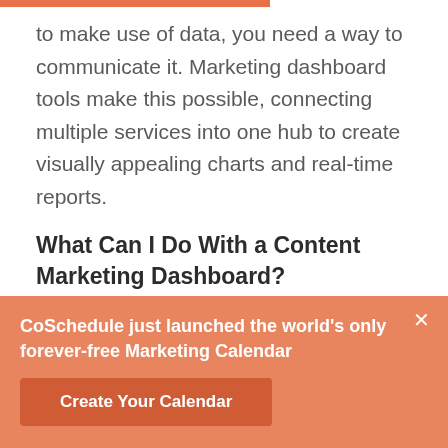to make use of data, you need a way to communicate it. Marketing dashboard tools make this possible, connecting multiple services into one hub to create visually appealing charts and real-time reports.
What Can I Do With a Content Marketing Dashboard?
Dashboards help simplify sharing data across an
CoSchedule just launched the world's only forever-free Marketing Calendar
Create Your Calendar